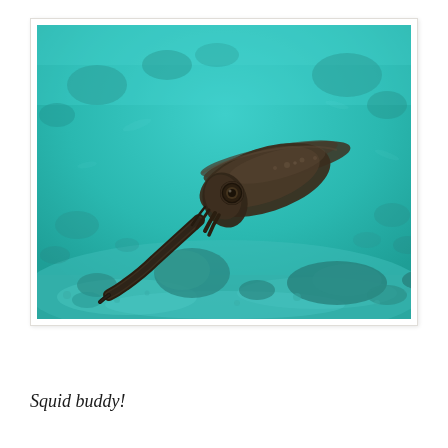[Figure (photo): Underwater photograph of a squid (cuttlefish) swimming above a sandy coral reef bottom. The creature is dark brown/olive colored with a torpedo-shaped body, visible eye, and pointed tail. The water is turquoise/teal colored and the seafloor has coral rocks and sand visible.]
Squid buddy!